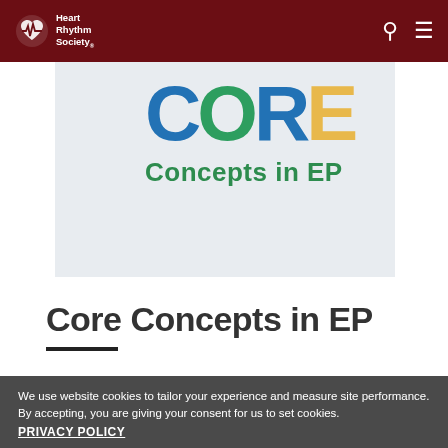Heart Rhythm Society
[Figure (logo): Heart Rhythm Society logo with heart/ECG icon and text 'Heart Rhythm Society']
[Figure (illustration): Core Concepts in EP banner image with large colorful letters C, O, R, E in blue, green, blue, yellow and subtitle 'Concepts in EP' in green]
Core Concepts in EP
We use website cookies to tailor your experience and measure site performance. By accepting, you are giving your consent for us to set cookies.
PRIVACY POLICY